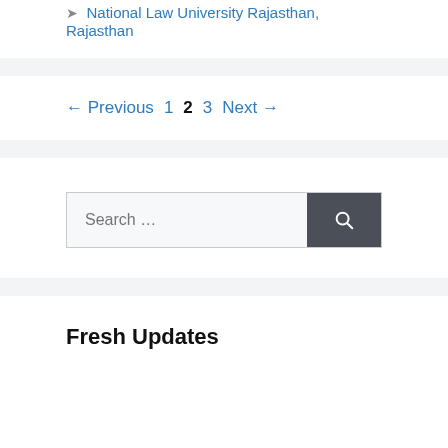National Law University Rajasthan, Rajasthan
← Previous  1  2  3  Next →
Search …
Fresh Updates